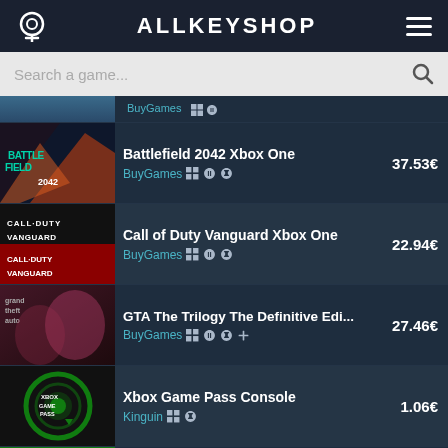ALLKEYSHOP
Search a game...
Battlefield 2042 Xbox One — BuyGames — 37.53€
Call of Duty Vanguard Xbox One — BuyGames — 22.94€
GTA The Trilogy The Definitive Edi... — BuyGames — 27.46€
Xbox Game Pass Console — Kinguin — 1.06€
Xbox Live Gold — Kinguin — 0.89€
We use cookies to ensure that we give you the best experience on our website. If you continue to use this site we will assume that you are happy with it. Read more